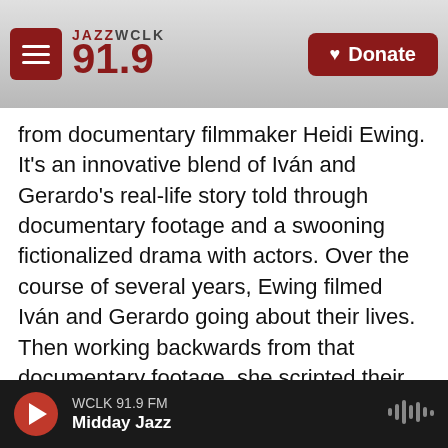JAZZ WCLK 91.9 | Donate
from documentary filmmaker Heidi Ewing. It's an innovative blend of Iván and Gerardo's real-life story told through documentary footage and a swooning fictionalized drama with actors. Over the course of several years, Ewing filmed Iván and Gerardo going about their lives. Then working backwards from that documentary footage, she scripted their backstory, and found actors to play them in their early 20s, and also in childhood when they dealt with fathers who were differently oppressive.
The film isn't simply an indictment of the homophobia Ivan and Gerardo faced but also a
WCLK 91.9 FM | Midday Jazz